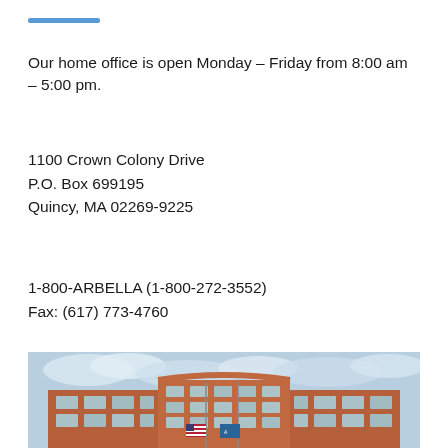Our home office is open Monday – Friday from 8:00 am – 5:00 pm.
1100 Crown Colony Drive
P.O. Box 699195
Quincy, MA 02269-9225
1-800-ARBELLA (1-800-272-3552)
Fax: (617) 773-4760
[Figure (photo): Exterior photograph of a red brick office building (Arbella headquarters at 1100 Crown Colony Drive, Quincy, MA) with blue sky and clouds in the background, and flags (including an American flag) in front of the building.]